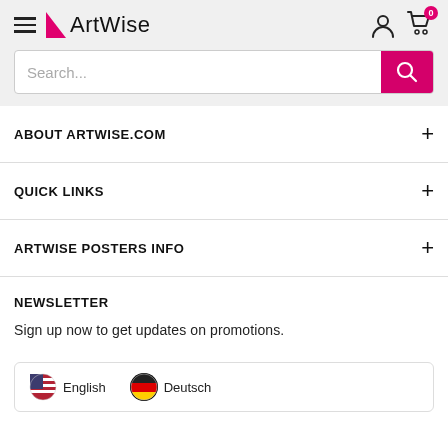ArtWise - hamburger menu, logo, user icon, cart icon (0 items), search bar
ABOUT ARTWISE.COM
QUICK LINKS
ARTWISE POSTERS INFO
NEWSLETTER
Sign up now to get updates on promotions.
English  Deutsch